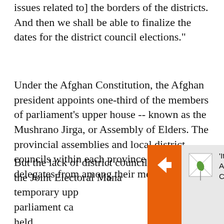issues related to] the borders of the districts. And then we shall be able to finalize the dates for the district council elections."
Under the Afghan Constitution, the Afghan president appoints one-third of the members of parliament's upper house -- known as the Mushrano Jirga, or Assembly of Elders. The provincial assemblies and local district councils within each province also elect delegates from among their members.
But the lack of district councils has forced the Joint Electoral Mana[gement Body to appoint] temporary upp[er house members until district council] parliament ca[n] held.
[Figure (screenshot): Overlay UI element with an orange arrow/navigation bar on the left and a grey card on the right showing a news article thumbnail and headline: 'It's Not Scary To Die For The Motherland': As War On Ukraine Rages, Russian Children Targeted For 'Patriotic' Education]
Under that sys[tem...]